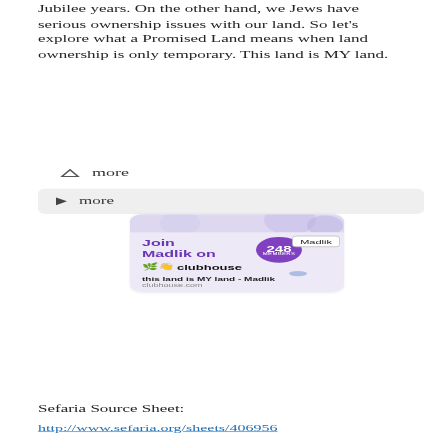Jubilee years. On the other hand, we Jews have serious ownership issues with our land. So let's explore what a Promised Land means when land ownership is only temporary. This land is MY land.
∧  more
▶  more
[Figure (screenshot): Clubhouse app promotional card: 'Join Madlik on clubhouse' with a purple badge showing 248 members, a Madlik card graphic, decorative circles, and footer text 'this land is MY land - Madlik' with URL 'clubhouse.com']
Sefaria Source Sheet:
http://www.sefaria.org/sheets/406956